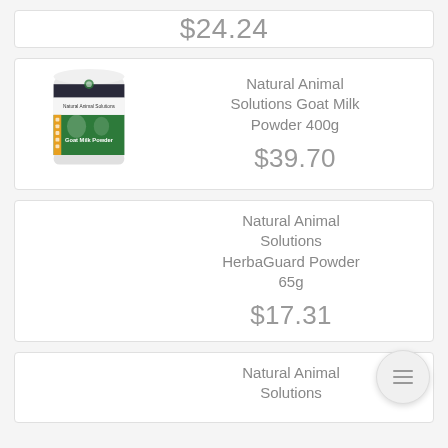$24.24
[Figure (photo): Natural Animal Solutions Goat Milk Powder 400g product container - white plastic tub with green and dark label]
Natural Animal Solutions Goat Milk Powder 400g
$39.70
Natural Animal Solutions HerbaGuard Powder 65g
$17.31
Natural Animal Solutions